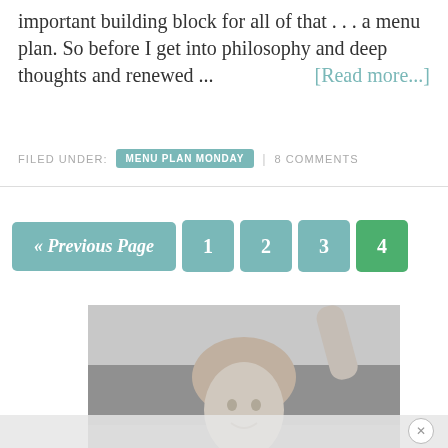important building block for all of that . . . a menu plan. So before I get into philosophy and deep thoughts and renewed ... [Read more...]
FILED UNDER: MENU PLAN MONDAY | 8 COMMENTS
« Previous Page  1  2  3  4
[Figure (photo): Black and white photo of a woman with curly hair raising her hand]